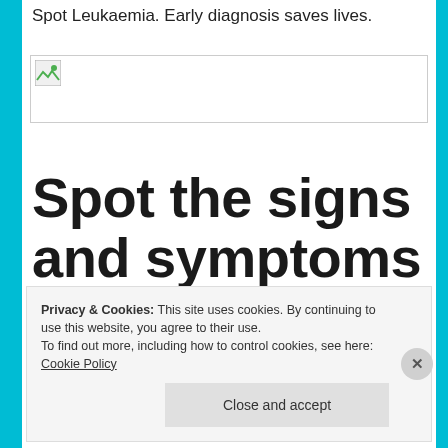Spot Leukaemia. Early diagnosis saves lives.
[Figure (photo): Broken/unloaded image placeholder thumbnail in top content area]
Spot the signs and symptoms of leukaemia
Privacy & Cookies: This site uses cookies. By continuing to use this website, you agree to their use.
To find out more, including how to control cookies, see here: Cookie Policy
Close and accept